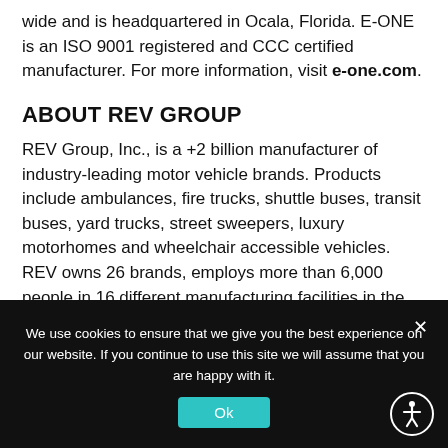wide and is headquartered in Ocala, Florida. E-ONE is an ISO 9001 registered and CCC certified manufacturer. For more information, visit e-one.com.
ABOUT REV GROUP
REV Group, Inc., is a +2 billion manufacturer of industry-leading motor vehicle brands. Products include ambulances, fire trucks, shuttle buses, transit buses, yard trucks, street sweepers, luxury motorhomes and wheelchair accessible vehicles. REV owns 26 brands, employs more than 6,000 people in 16 different manufacturing facilities in the U.S., and produces more than 20,000 specialty vehicles annually. REV Group
We use cookies to ensure that we give you the best experience on our website. If you continue to use this site we will assume that you are happy with it.